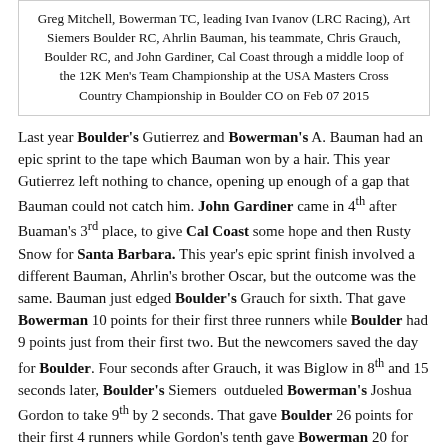Greg Mitchell, Bowerman TC, leading Ivan Ivanov (LRC Racing), Art Siemers Boulder RC, Ahrlin Bauman, his teammate, Chris Grauch, Boulder RC, and John Gardiner, Cal Coast through a middle loop of the 12K Men's Team Championship at the USA Masters Cross Country Championship in Boulder CO on Feb 07 2015
Last year Boulder's Gutierrez and Bowerman's A. Bauman had an epic sprint to the tape which Bauman won by a hair. This year Gutierrez left nothing to chance, opening up enough of a gap that Bauman could not catch him. John Gardiner came in 4th after Buaman's 3rd place, to give Cal Coast some hope and then Rusty Snow for Santa Barbara. This year's epic sprint finish involved a different Bauman, Ahrlin's brother Oscar, but the outcome was the same. Bauman just edged Boulder's Grauch for sixth. That gave Bowerman 10 points for their first three runners while Boulder had 9 points just from their first two. But the newcomers saved the day for Boulder. Four seconds after Grauch, it was Biglow in 8th and 15 seconds later, Boulder's Siemers outdueled Bowerman's Joshua Gordon to take 9th by 2 seconds. That gave Boulder 26 points for their first 4 runners while Gordon's tenth gave Bowerman 20 for the same number. It would all come down to the 5th runner!